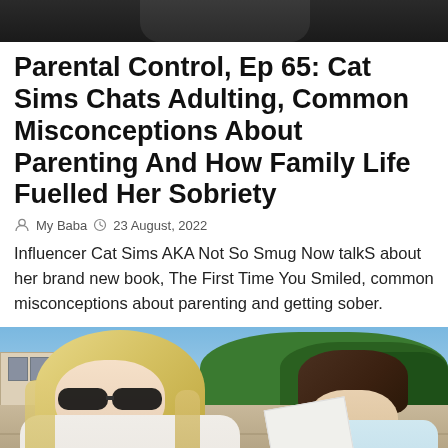[Figure (photo): Top portion of a person in dark clothing, cropped at the top of the page]
Parental Control, Ep 65: Cat Sims Chats Adulting, Common Misconceptions About Parenting And How Family Life Fuelled Her Sobriety
My Baba   23 August, 2022
Influencer Cat Sims AKA Not So Smug Now talkS about her brand new book, The First Time You Smiled, common misconceptions about parenting and getting sober.
[Figure (photo): Outdoor photo of two people, a blonde woman wearing sunglasses and a child with short dark hair, sitting together outdoors near a stone wall with trees and a building in the background. An arrow circle icon is visible on the right side.]